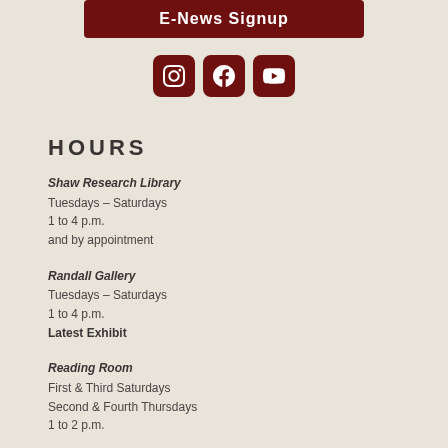[Figure (other): E-News Signup button in dark red/maroon color]
[Figure (other): Three social media icons (Instagram, Facebook, YouTube) in dark red/maroon rounded squares]
HOURS
Shaw Research Library
Tuesdays – Saturdays
1 to 4 p.m.
and by appointment
Randall Gallery
Tuesdays – Saturdays
1 to 4 p.m.
Latest Exhibit
Reading Room
First & Third Saturdays
Second & Fourth Thursdays
1 to 2 p.m.